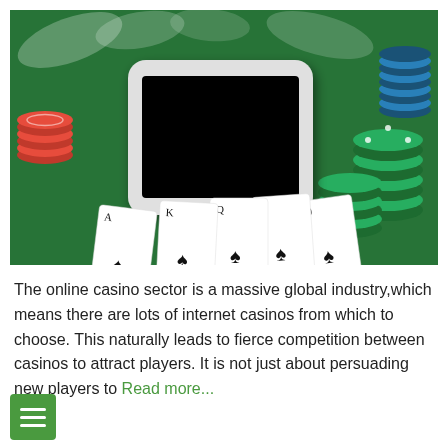[Figure (photo): Photo of a green casino felt table with playing cards (A K Q J 10 of spades), casino chips (green, red, blue), and a white smartphone with a black screen in the center.]
The online casino sector is a massive global industry,which means there are lots of internet casinos from which to choose. This naturally leads to fierce competition between casinos to attract players. It is not just about persuading new players to Read more...